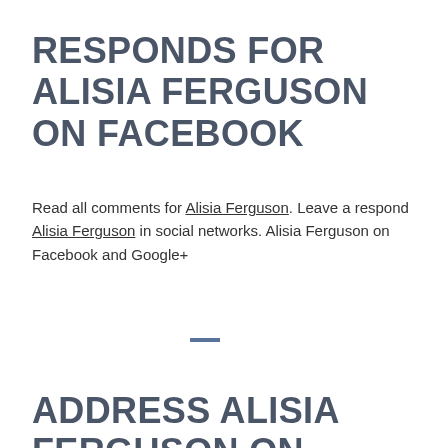RESPONDS FOR ALISIA FERGUSON ON FACEBOOK
Read all comments for Alisia Ferguson. Leave a respond Alisia Ferguson in social networks. Alisia Ferguson on Facebook and Google+
ADDRESS ALISIA FERGUSON ON GOOGLE